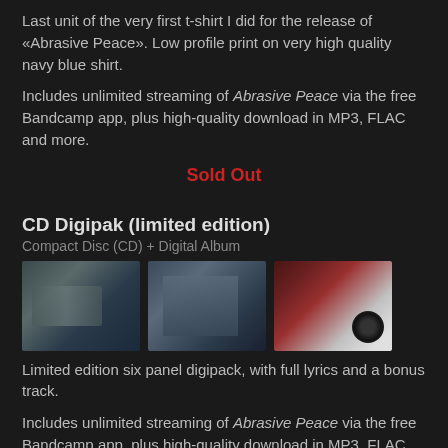Last unit of the very first t-shirt I did for the release of «Abrasive Peace». Low profile print on very high quality navy blue shirt.
Includes unlimited streaming of Abrasive Peace via the free Bandcamp app, plus high-quality download in MP3, FLAC and more.
Sold Out
CD Digipak (limited edition)
Compact Disc (CD) + Digital Album
[Figure (photo): Three photos of the CD Digipak product: left shows front cover with misty dark design, center shows the digipak standing open, right shows the inside panels with red artwork and a CD disc.]
Limited edition six panel digipack, with full lyrics and a bonus track.
Includes unlimited streaming of Abrasive Peace via the free Bandcamp app, plus high-quality download in MP3, FLAC and more.
Sold Out
Backstage
Join now to receive all the new music Colosso creates, including 8 back-